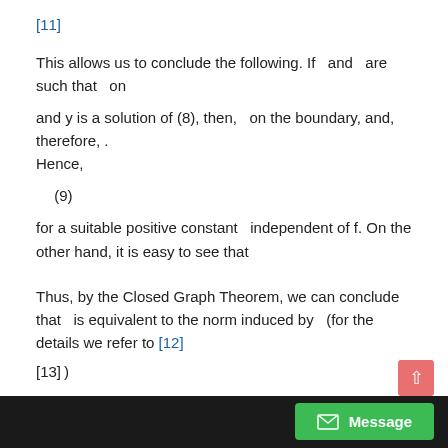[11]
This allows us to conclude the following. If and are such that on
and y is a solution of (8), then, on the boundary, and, therefore,. Hence,
for a suitable positive constant independent of f. On the other hand, it is easy to see that
Thus, by the Closed Graph Theorem, we can conclude that is equivalent to the norm induced by (for the details we refer to [12] [13])